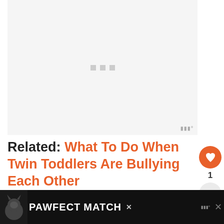[Figure (other): Gray placeholder image area with three small gray square loading dots in the center and a small watermark icon in the bottom right corner]
Related: What To Do When Twin Toddlers Are Bullying Each Other
[Figure (other): Advertisement banner at the bottom showing PAWFECT MATCH with a cat graphic, close button, and branding watermark]